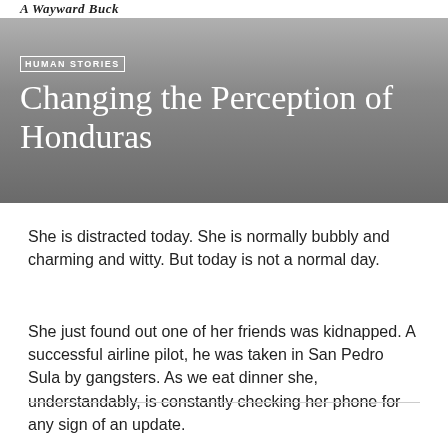A Wayward Buck
HUMAN STORIES
Changing the Perception of Honduras
She is distracted today. She is normally bubbly and charming and witty. But today is not a normal day.
She just found out one of her friends was kidnapped. A successful airline pilot, he was taken in San Pedro Sula by gangsters. As we eat dinner she, understandably, is constantly checking her phone for any sign of an update.